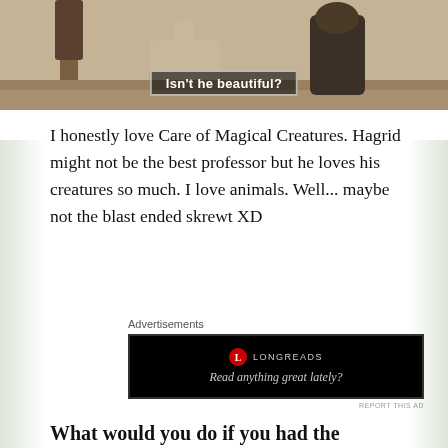[Figure (screenshot): Movie still showing Hagrid from behind with trees in background, subtitle text reading "Isn't he beautiful?"]
I honestly love Care of Magical Creatures. Hagrid might not be the best professor but he loves his creatures so much. I love animals. Well... maybe not the blast ended skrewt XD
[Figure (other): Longreads advertisement: black box with Longreads logo and text 'Read anything great lately?']
What would you do if you had the Mauraders Map?
I would be like Fred and George and use it for all of the secret passageways XD